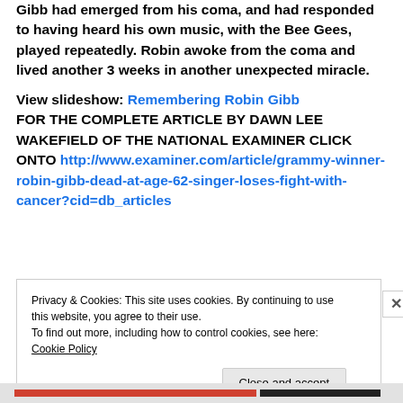Gibb had emerged from his coma, and had responded to having heard his own music, with the Bee Gees, played repeatedly. Robin awoke from the coma and lived another 3 weeks in another unexpected miracle.
View slideshow: Remembering Robin Gibb FOR THE COMPLETE ARTICLE BY DAWN LEE WAKEFIELD OF THE NATIONAL EXAMINER CLICK ONTO http://www.examiner.com/article/grammy-winner-robin-gibb-dead-at-age-62-singer-loses-fight-with-cancer?cid=db_articles
Privacy & Cookies: This site uses cookies. By continuing to use this website, you agree to their use. To find out more, including how to control cookies, see here: Cookie Policy
Close and accept